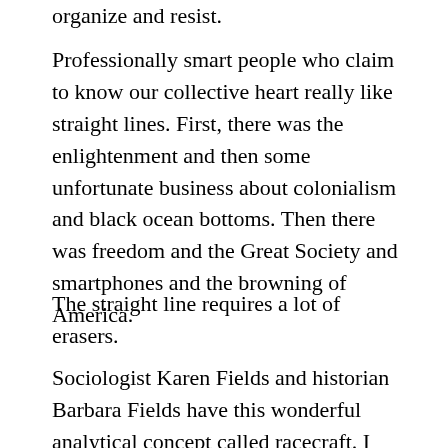organize and resist.
Professionally smart people who claim to know our collective heart really like straight lines. First, there was the enlightenment and then some unfortunate business about colonialism and black ocean bottoms. Then there was freedom and the Great Society and smartphones and the browning of America.
The straight line requires a lot of erasers.
Sociologist Karen Fields and historian Barbara Fields have this wonderful analytical concept called racecraft. I like